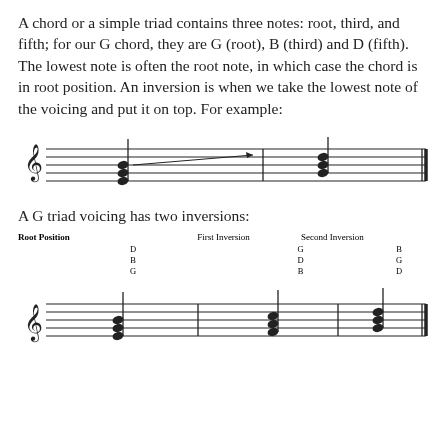A chord or a simple triad contains three notes: root, third, and fifth; for our G chord, they are G (root), B (third) and D (fifth). The lowest note is often the root note, in which case the chord is in root position. An inversion is when we take the lowest note of the voicing and put it on top. For example:
[Figure (other): Musical staff showing a G chord in root position with an arrow indicating inversion to first inversion chord]
A G triad voicing has two inversions:
[Figure (other): Musical staff showing Root Position (G B D), First Inversion (B D G), and Second Inversion (D G B) of G triad with note labels above]